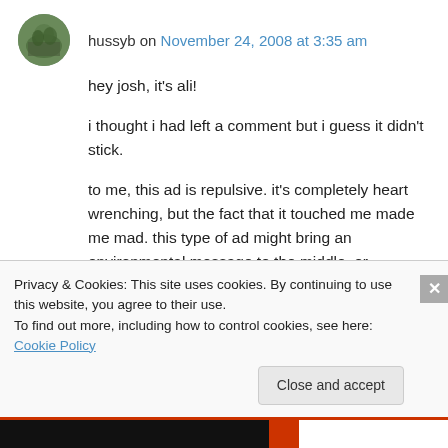hussyb on November 24, 2008 at 3:35 am
hey josh, it's ali!
i thought i had left a comment but i guess it didn't stick.
to me, this ad is repulsive. it's completely heart wrenching, but the fact that it touched me made me mad. this type of ad might bring an environmental message to the middle, or normalize protest, but, if it's essentially co-opted
Privacy & Cookies: This site uses cookies. By continuing to use this website, you agree to their use.
To find out more, including how to control cookies, see here: Cookie Policy